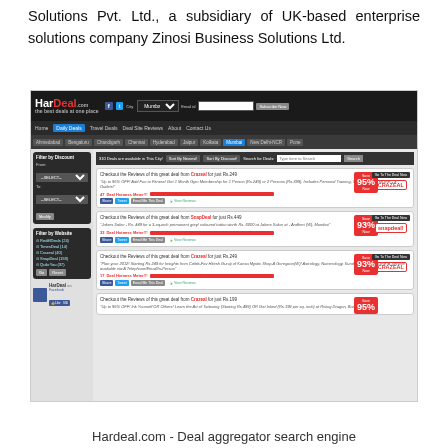Solutions Pvt. Ltd., a subsidiary of UK-based enterprise solutions company Zinosi Business Solutions Ltd.
[Figure (screenshot): Screenshot of HarDeal.com deal aggregator search engine showing deal listings from Crazeal and SnapDeal with discount badges of 95%, 93%, 93%, and 95%]
Hardeal.com - Deal aggregator search engine